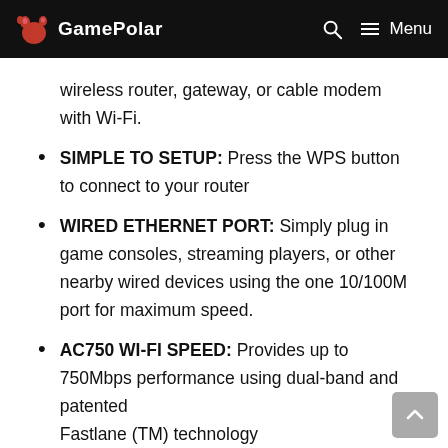GamePolar | Menu
wireless router, gateway, or cable modem with Wi-Fi.
SIMPLE TO SETUP: Press the WPS button to connect to your router
WIRED ETHERNET PORT: Simply plug in game consoles, streaming players, or other nearby wired devices using the one 10/100M port for maximum speed.
AC750 WI-FI SPEED: Provides up to 750Mbps performance using dual-band and patented Fastlane (TM) technology